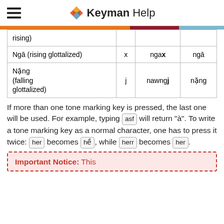KeymanHelp
| Tone name | Key | Example input | Output |
| --- | --- | --- | --- |
| rising) |  |  |  |
| Ngā (rising glottalized) | x | ngax | ngā |
| Nặng (falling glottalized) | j | nawngj | nặng |
If more than one tone marking key is pressed, the last one will be used. For example, typing asf will return "à". To write a tone marking key as a normal character, one has to press it twice: her becomes hề, while herr becomes her.
Important Notice: This